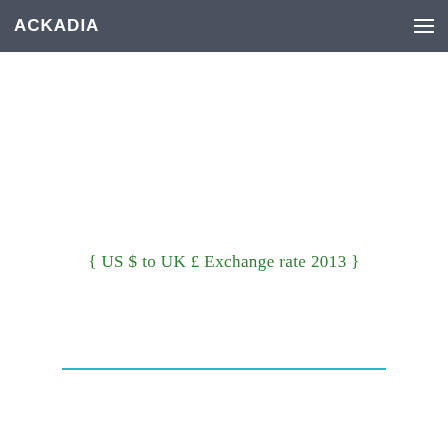ACKADIA
{ US $ to UK £ Exchange rate 2013 }